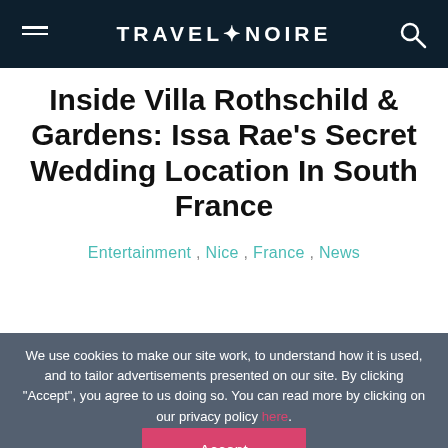TRAVEL+NOIRE
Inside Villa Rothschild & Gardens: Issa Rae's Secret Wedding Location In South France
Entertainment , Nice , France , News
We use cookies to make our site work, to understand how it is used, and to tailor advertisements presented on our site. By clicking "Accept", you agree to us doing so. You can read more by clicking on our privacy policy here.
Accept